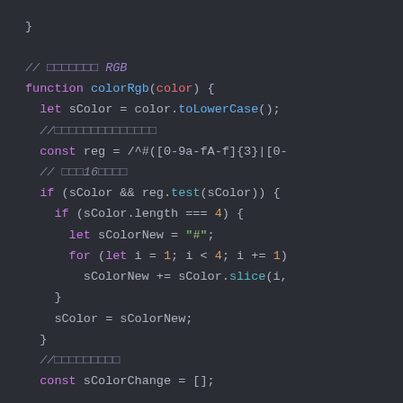[Figure (screenshot): Dark-themed code editor screenshot showing JavaScript code for a colorRgb function with syntax highlighting. The code shows function definition, let/const declarations, regex pattern, if statements, for loop, and variable assignments. Comments are shown in italic purple/gray. Keywords in purple, function names in blue/cyan, strings in green, operators in white.]